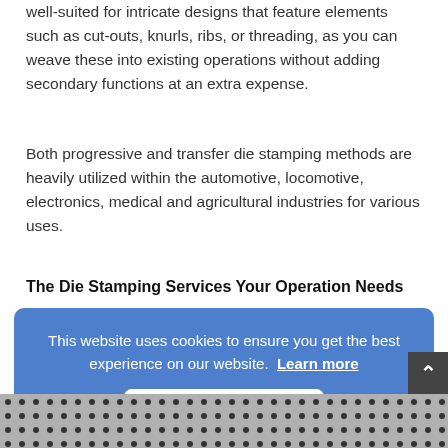well-suited for intricate designs that feature elements such as cut-outs, knurls, ribs, or threading, as you can weave these into existing operations without adding secondary functions at an extra expense.
Both progressive and transfer die stamping methods are heavily utilized within the automotive, locomotive, electronics, medical and agricultural industries for various uses.
The Die Stamping Services Your Operation Needs
This website uses cookies to ensure you get the best experience on our website.  Learn more
Got it
[Figure (photo): Dotted metal mesh or stamped sheet pattern shown at the bottom of the page]